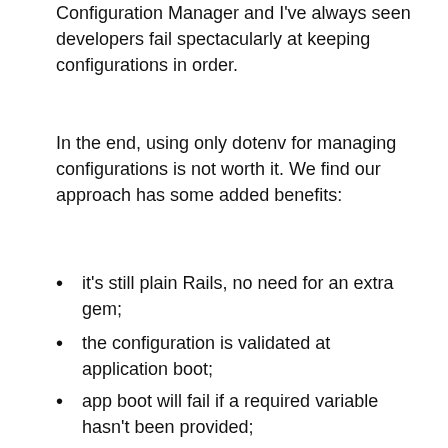Configuration Manager and I've always seen developers fail spectacularly at keeping configurations in order.
In the end, using only dotenv for managing configurations is not worth it. We find our approach has some added benefits:
it's still plain Rails, no need for an extra gem;
the configuration is validated at application boot;
app boot will fail if a required variable hasn't been provided;
defaults are good for working on the app locally;
developers won't have access to production